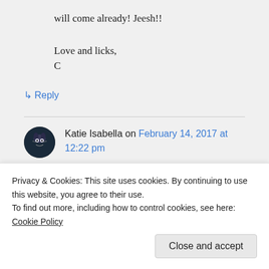will come already! Jeesh!!
Love and licks,
C
↳ Reply
Katie Isabella on February 14, 2017 at 12:22 pm
I know it will. Seriously. It will. Keep
Privacy & Cookies: This site uses cookies. By continuing to use this website, you agree to their use.
To find out more, including how to control cookies, see here: Cookie Policy
Close and accept